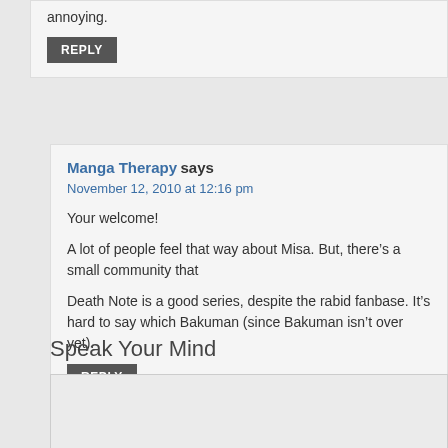annoying.
REPLY
Manga Therapy says
November 12, 2010 at 12:16 pm
Your welcome!
A lot of people feel that way about Misa. But, there’s a small community that
Death Note is a good series, despite the rabid fanbase. It’s hard to say which Bakuman (since Bakuman isn’t over yet).
REPLY
Speak Your Mind